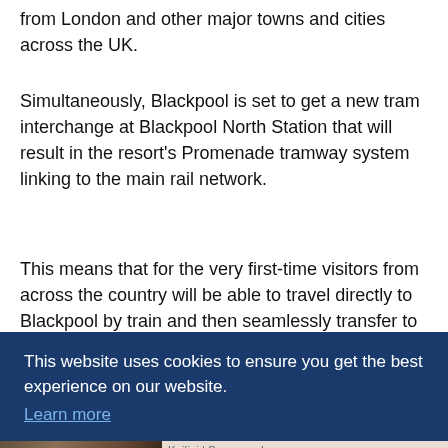from London and other major towns and cities across the UK.
Simultaneously, Blackpool is set to get a new tram interchange at Blackpool North Station that will result in the resort's Promenade tramway system linking to the main rail network.
This means that for the very first-time visitors from across the country will be able to travel directly to Blackpool by train and then seamlessly transfer to bus [or tram to get around the t]own. [...delegates...conference...st]
This website uses cookies to ensure you get the best experience on our website. Learn more
[Figure (photo): Outdoor wall light fixture with a bulb visible, stone wall background]
Home Light Bulb Camera For Easy Installation. Keilini | Sponsored